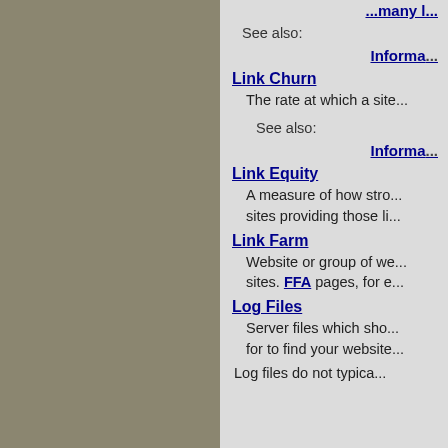...many l...
See also:
Informa...
Link Churn
The rate at which a site...
See also:
Informa...
Link Equity
A measure of how stro... sites providing those li...
Link Farm
Website or group of we... sites. FFA pages, for e...
Log Files
Server files which sho... for to find your website...
Log files do not typica...